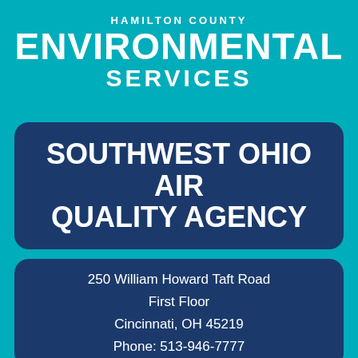HAMILTON COUNTY ENVIRONMENTAL SERVICES
SOUTHWEST OHIO AIR QUALITY AGENCY
250 William Howard Taft Road
First Floor
Cincinnati, OH 45219
Phone: 513-946-7777